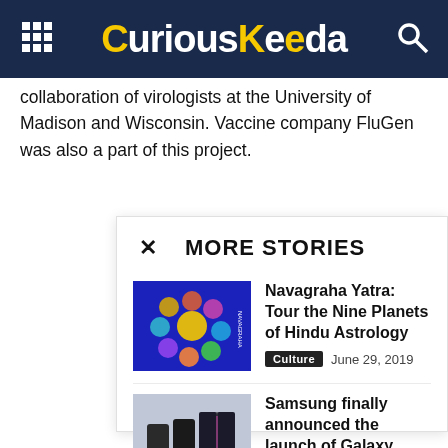CuriousKeeda
collaboration of virologists at the University of Madison and Wisconsin. Vaccine company FluGen was also a part of this project.
MORE STORIES
[Figure (photo): Navagraha Yatra - Nine Planets of Hindu Astrology thumbnail showing colorful deity images on blue background]
Navagraha Yatra: Tour the Nine Planets of Hindu Astrology
Culture   June 29, 2019
[Figure (photo): Samsung Galaxy Fold phones on a table]
Samsung finally announced the launch of Galaxy Fold
NEWS   July 25, 2019